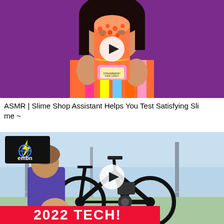[Figure (screenshot): Video thumbnail showing a woman with dark hair holding an orange slime product against a purple background, with a white play button overlay in the center]
ASMR | Slime Shop Assistant Helps You Test Satisfying Slime ~
[Figure (screenshot): Video thumbnail showing a man in a purple t-shirt with a black electric mountain bike (embn logo visible), with text '2022 TECH!' in red/white at the bottom, and a white play button overlay in the center]